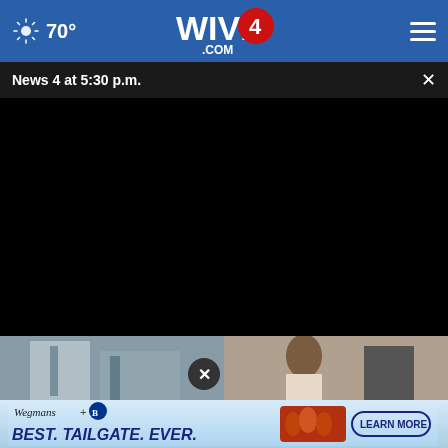70° WIVB4.COM
News 4 at 5:30 p.m.
[Figure (screenshot): Black video player area, video not playing]
[Figure (photo): Two thumbnail images at bottom - left shows a building/structure, right shows a person with curly hair]
[Figure (infographic): Wegmans + Buffalo Bills advertisement: BEST. TAILGATE. EVER. with food image and LEARN MORE button]